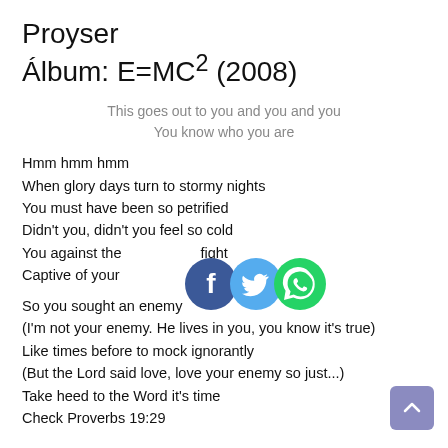Proyser
Álbum: E=MC² (2008)
This goes out to you and you and you
You know who you are
Hmm hmm hmm
When glory days turn to stormy nights
You must have been so petrified
Didn't you, didn't you feel so cold
You against the world, love to fight
Captive of your demons inside
So you sought an enemy
(I'm not your enemy. He lives in you, you know it's true)
Like times before to mock ignorantly
(But the Lord said love, love your enemy so just...)
Take heed to the Word it's time
Check Proverbs 19:29
[Figure (other): Three overlapping social media sharing icons: Facebook (blue circle with white f), Twitter (light blue circle with white bird), and WhatsApp (green circle with white phone)]